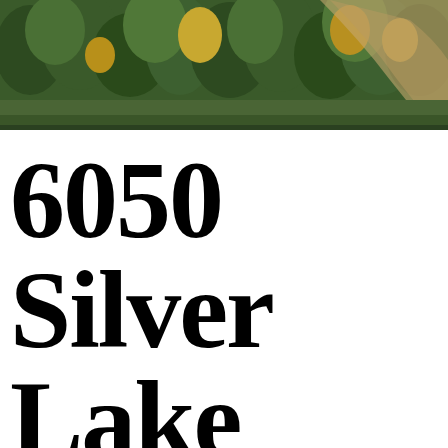[Figure (photo): Aerial photograph of a forested hillside with dense evergreen trees and a dirt path or road visible among the trees, with some autumn foliage color variation.]
6050 Silver Lake Dr